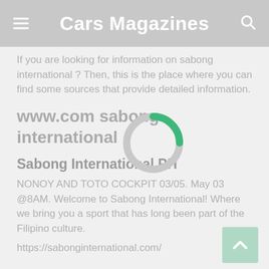Cars Magazines
If you are looking for information on sabong international ? Then, this is the place where you can find some sources that provide detailed information.
www.com sabong international
[Figure (other): Loading spinner overlay — a circular spinner with a green arc on top and grey body]
Sabong International PH
NONOY AND TOTO COCKPIT 03/05. May 03 @8AM. Welcome to Sabong International! Where we bring you a sport that has long been part of the Filipino culture.
https://sabonginternational.com/